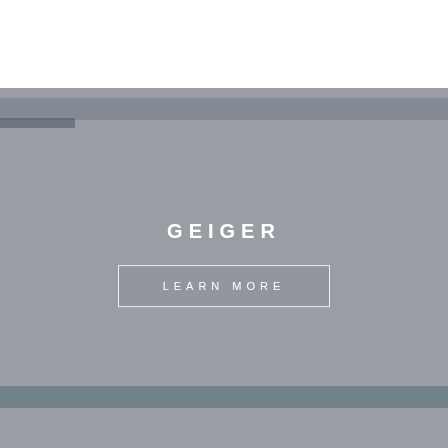[Figure (photo): Grey-toned background image of a mostly uniform gray surface with subtle horizontal banding and darker shapes, used as a backdrop for a brand card overlay.]
GEIGER
LEARN MORE